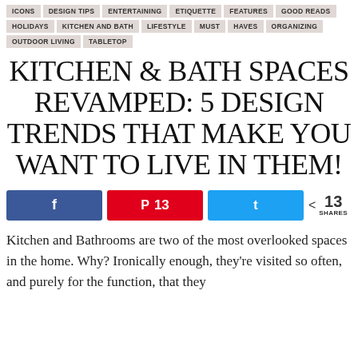ICONS | DESIGN TIPS | ENTERTAINING | ETIQUETTE | FEATURES | GOOD READS | HOLIDAYS | KITCHEN AND BATH | LIFESTYLE | MUST HAVES | ORGANIZING | OUTDOOR LIVING | TABLETOP
KITCHEN & BATH SPACES REVAMPED: 5 DESIGN TRENDS THAT MAKE YOU WANT TO LIVE IN THEM!
Share buttons: Facebook, Pinterest 13, Twitter. 13 SHARES
Kitchen and Bathrooms are two of the most overlooked spaces in the home. Why? Ironically enough, they're visited so often, and purely for the function, that they